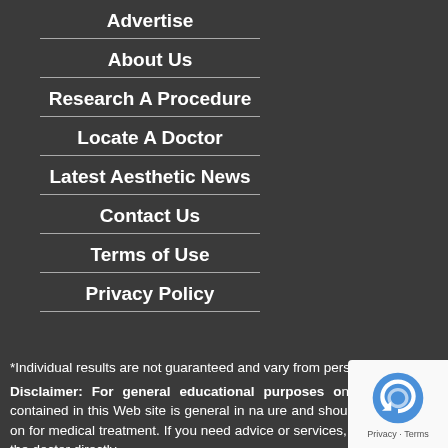Advertise
About Us
Research A Procedure
Locate A Doctor
Latest Aesthetic News
Contact Us
Terms of Use
Privacy Policy
*Individual results are not guaranteed and vary from person to person.
Disclaimer: For general educational purposes only. Information contained in this Web site is general in nature and should not be relied on for medical treatment. If you need advice or services, please contact the doctor directly.
[Figure (logo): reCAPTCHA badge with Privacy and Terms links]